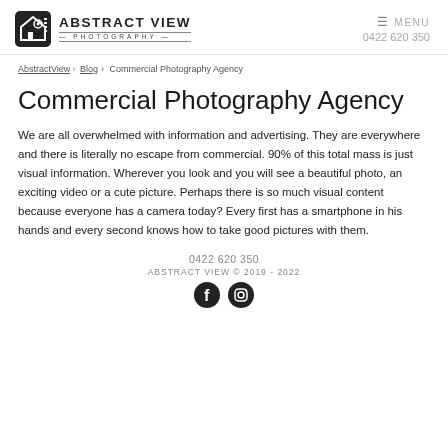ABSTRACT VIEW PHOTOGRAPHY — MENU — 0422 620 350
AbstractView > Blog > Commercial Photography Agency
Commercial Photography Agency
We are all overwhelmed with information and advertising. They are everywhere and there is literally no escape from commercial. 90% of this total mass is just visual information. Wherever you look and you will see a beautiful photo, an exciting video or a cute picture. Perhaps there is so much visual content because everyone has a camera today? Every first has a smartphone in his hands and every second knows how to take good pictures with them.
0422 620 350
ABSTRACT VIEW © 2019 - 2022